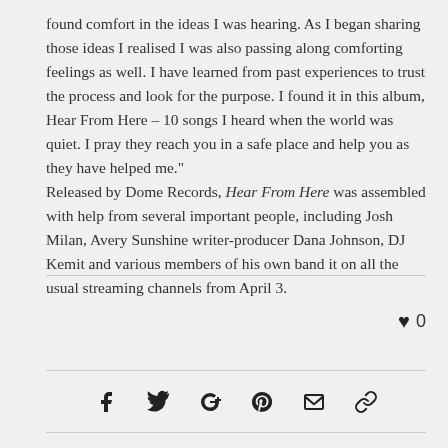found comfort in the ideas I was hearing. As I began sharing those ideas I realised I was also passing along comforting feelings as well. I have learned from past experiences to trust the process and look for the purpose. I found it in this album, Hear From Here – 10 songs I heard when the world was quiet. I pray they reach you in a safe place and help you as they have helped me." Released by Dome Records, Hear From Here was assembled with help from several important people, including Josh Milan, Avery Sunshine writer-producer Dana Johnson, DJ Kemit and various members of his own band it on all the usual streaming channels from April 3.
[Figure (infographic): Heart icon with count 0, and social sharing icons: Facebook, Twitter, Google+, Pinterest, Email, Link]